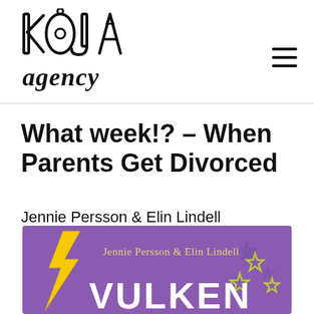[Figure (logo): KOJA agency logo — hand-drawn block letters spelling KOJA above cursive 'agency' text]
What week!? – When Parents Get Divorced
Jennie Persson & Elin Lindell
[Figure (illustration): Book cover with purple background, yellow lightning bolt, stars, authors names 'Jennie Persson & Elin Lindell' in white/yellow text, and large white text 'VULKEN' at bottom]